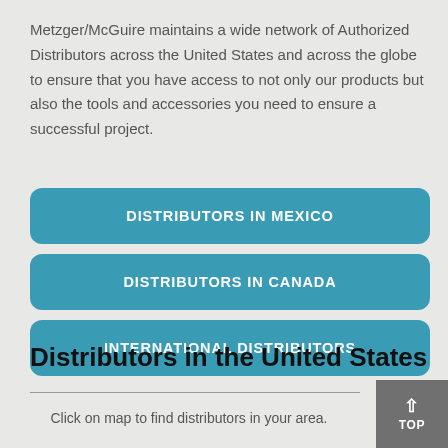Metzger/McGuire maintains a wide network of Authorized Distributors across the United States and across the globe to ensure that you have access to not only our products but also the tools and accessories you need to ensure a successful project.
DISTRIBUTORS IN MEXICO
DISTRIBUTORS IN CANADA
INTERNATIONAL DISTRIBUTORS
Distributors in the United States
Click on map to find distributors in your area.